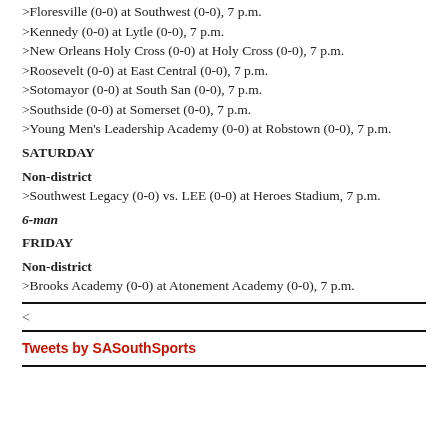>Floresville (0-0) at Southwest (0-0), 7 p.m.
>Kennedy (0-0) at Lytle (0-0), 7 p.m.
>New Orleans Holy Cross (0-0) at Holy Cross (0-0), 7 p.m.
>Roosevelt (0-0) at East Central (0-0), 7 p.m.
>Sotomayor (0-0) at South San (0-0), 7 p.m.
>Southside (0-0) at Somerset (0-0), 7 p.m.
>Young Men's Leadership Academy (0-0) at Robstown (0-0), 7 p.m.
SATURDAY
Non-district
>Southwest Legacy (0-0) vs. LEE (0-0) at Heroes Stadium, 7 p.m.
6-man
FRIDAY
Non-district
>Brooks Academy (0-0) at Atonement Academy (0-0), 7 p.m.
<
Tweets by SASouthSports